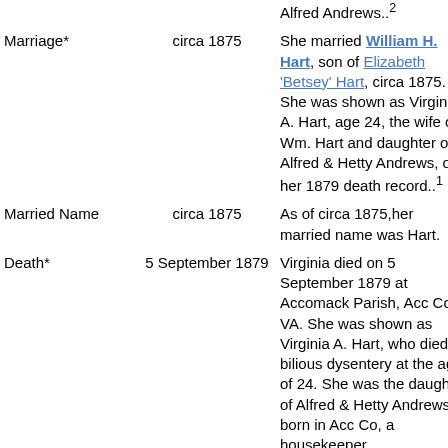| Event | Date | Details |
| --- | --- | --- |
|  |  | Alfred Andrews...² |
| Marriage* | circa 1875 | She married William H. Hart, son of Elizabeth 'Betsey' Hart, circa 1875. She was shown as Virginia A. Hart, age 24, the wife of Wm. Hart and daughter of Alfred & Hetty Andrews, on her 1879 death record..¹ |
| Married Name | circa 1875 | As of circa 1875,her married name was Hart. |
| Death* | 5 September 1879 | Virginia died on 5 September 1879 at Accomack Parish, Acc Co, VA. She was shown as Virginia A. Hart, who died of bilious dysentery at the age of 24. She was the daughter of Alfred & Hetty Andrews, born in Acc Co, a housekeeper |